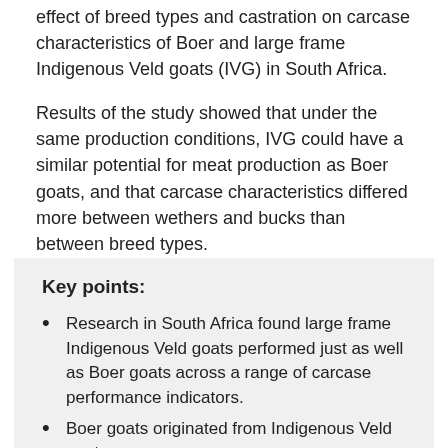effect of breed types and castration on carcase characteristics of Boer and large frame Indigenous Veld goats (IVG) in South Africa.
Results of the study showed that under the same production conditions, IVG could have a similar potential for meat production as Boer goats, and that carcase characteristics differed more between wethers and bucks than between breed types.
Key points:
Research in South Africa found large frame Indigenous Veld goats performed just as well as Boer goats across a range of carcase performance indicators.
Boer goats originated from Indigenous Veld goats.